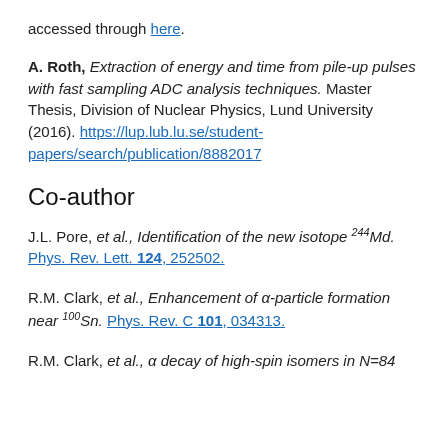accessed through here.
A. Roth, Extraction of energy and time from pile-up pulses with fast sampling ADC analysis techniques. Master Thesis, Division of Nuclear Physics, Lund University (2016). https://lup.lub.lu.se/student-papers/search/publication/8882017
Co-author
J.L. Pore, et al., Identification of the new isotope 244Md. Phys. Rev. Lett. 124, 252502.
R.M. Clark, et al., Enhancement of α-particle formation near 100Sn. Phys. Rev. C 101, 034313.
R.M. Clark, et al., α decay of high-spin isomers in N=84